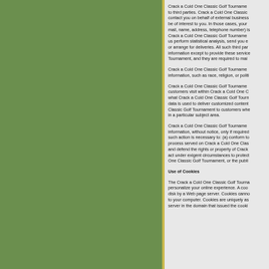Crack a Cold One Classic Golf Tournament does not sell, trade, or rent your personal identification information to third parties. Crack a Cold One Classic Golf Tournament may share generic aggregated demographic information not linked to any personal identification information regarding visitors and customers with our business partners, trusted affiliates and advertisers for the purposes outlined above. We may use third party service providers to help us operate our business and the Site or administer activities on our behalf, such as sending out newsletters or surveys. We may share your information with these third parties for those limited purposes provided that you have given us your permission.
Crack a Cold One Classic Golf Tournament does not collect sensitive information, such as race, religion, or political affiliation.
Crack a Cold One Classic Golf Tournament automatically receives and records information on our server logs from your browser, including your IP address, Crack a Cold One Classic Golf Tournament cookie information, and the page you requested. This data is used to deliver customized content and advertising within Crack a Cold One Classic Golf Tournament to customers whose behavior indicates that they are interested in a particular subject area.
Crack a Cold One Classic Golf Tournament will disclose your personal information, without notice, only if required to do so by law or in the good faith belief that such action is necessary to: (a) conform to the edicts of the law or comply with legal process served on Crack a Cold One Classic Golf Tournament or the site; (b) protect and defend the rights or property of Crack a Cold One Classic Golf Tournament; and, (c) act under exigent circumstances to protect the personal safety of users of Crack a Cold One Classic Golf Tournament, or the public.
Use of Cookies
The Crack a Cold One Classic Golf Tournament website uses "cookies" to help you personalize your online experience. A cookie is a text file that is placed on your hard disk by a Web page server. Cookies cannot be used to run programs or deliver viruses to your computer. Cookies are uniquely assigned to you, and can only be read by a web server in the domain that issued the cookie to you.